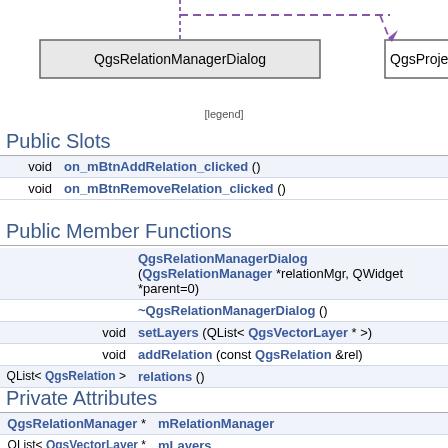[Figure (engineering-diagram): UML class diagram showing QgsRelationManagerDialog connected with a dashed arrow to QgsProject (partially visible). QgsRelationManagerDialog is shown as a gray rectangle box on the left, QgsProject is partially visible on the right.]
[legend]
Public Slots
| return | function |
| --- | --- |
| void | on_mBtnAddRelation_clicked () |
| void | on_mBtnRemoveRelation_clicked () |
Public Member Functions
| return | function |
| --- | --- |
|  | QgsRelationManagerDialog (QgsRelationManager *relationMgr, QWidget *parent=0) |
|  | ~QgsRelationManagerDialog () |
| void | setLayers (QList< QgsVectorLayer * >) |
| void | addRelation (const QgsRelation &rel) |
| QList< QgsRelation > | relations () |
Private Attributes
| type | name |
| --- | --- |
| QgsRelationManager * | mRelationManager |
| QList< QgsVectorLayer * > | mLayers |